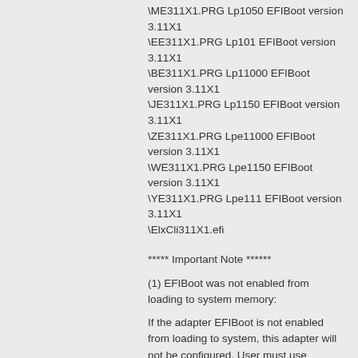\ME311X1.PRG Lp1050 EFIBoot version 3.11X1
\EE311X1.PRG Lp101 EFIBoot version 3.11X1
\BE311X1.PRG Lp11000 EFIBoot version 3.11X1
\JE311X1.PRG Lp1150 EFIBoot version 3.11X1
\ZE311X1.PRG Lpe11000 EFIBoot version 3.11X1
\WE311X1.PRG Lpe1150 EFIBoot version 3.11X1
\YE311X1.PRG Lpe111 EFIBoot version 3.11X1
\ElxCli311X1.efi
***** Important Note ******
(1) EFIBoot was not enabled from loading to system memory:
If the adapter EFIBoot is not enabled from loading to system, this adapter will not be configured. User must use LP6dutil or some other OS Utility to enable the EFIBoot in order to make this card bootable.